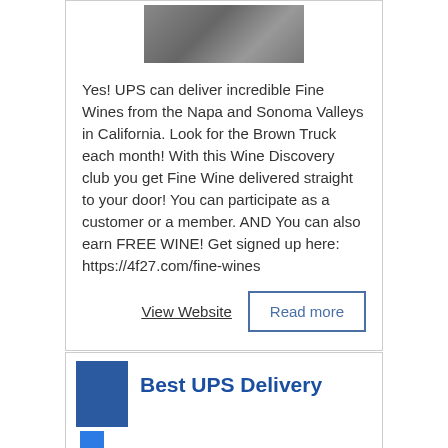[Figure (photo): Photo of wine bottles or wine-related scene at the top of the card]
Yes! UPS can deliver incredible Fine Wines from the Napa and Sonoma Valleys in California. Look for the Brown Truck each month! With this Wine Discovery club you get Fine Wine delivered straight to your door! You can participate as a customer or a member. AND You can also earn FREE WINE! Get signed up here: https://4f27.com/fine-wines
View Website
Read more
Best UPS Delivery